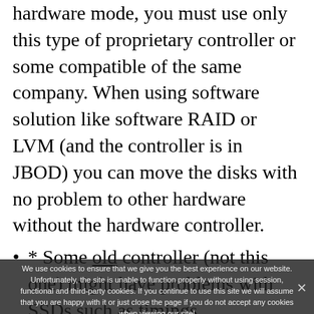hardware mode, you must use only this type of proprietary controller or some compatible of the same company. When using software solution like software RAID or LVM (and the controller is in JBOD) you can move the disks with no problem to other hardware without the hardware controller.
* Some old controller (not this one) might have problems with SSDs such as timings when the disks start; when failing a disk (the SSD would probably fail with read-only); some metadata cannot be removed from the array and the metadata header cannot be changed to remove the disk); no TRIM support, which is essential for the disk endurance and many more
We use cookies to ensure that we give you the best experience on our website. Unfortunately, the site is unable to function properly without using session, functional and third-party cookies. If you continue to use this site we will assume that you are happy with it or just close the page if you do not accept any cookies when viewing our site!